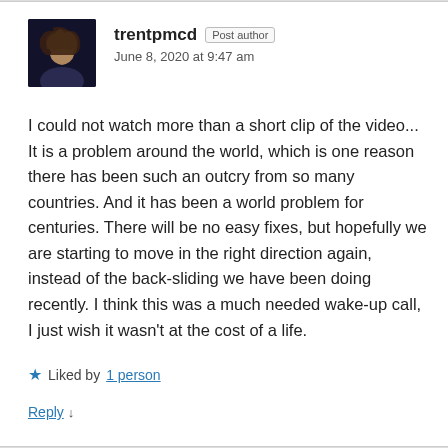[Figure (photo): Avatar photo of user trentpmcd — a person with curly hair against a dark background]
trentpmcd  Post author
June 8, 2020 at 9:47 am
I could not watch more than a short clip of the video... It is a problem around the world, which is one reason there has been such an outcry from so many countries. And it has been a world problem for centuries. There will be no easy fixes, but hopefully we are starting to move in the right direction again, instead of the back-sliding we have been doing recently. I think this was a much needed wake-up call, I just wish it wasn't at the cost of a life.
★ Liked by 1 person
Reply ↓